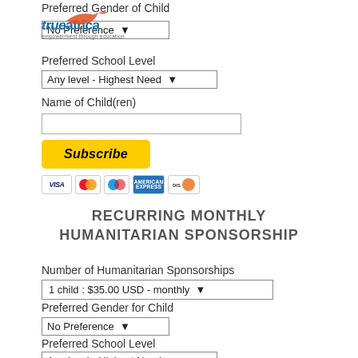Preferred Gender of Child
No Preference
[Figure (logo): True Africa logo with orange bird and tagline 'empowerment through education']
Preferred School Level
Any level - Highest Need
Name of Child(ren)
[Figure (other): Yellow Subscribe button with PayPal styling and payment icons: Visa, Mastercard, Maestro, American Express, Discover]
RECURRING MONTHLY HUMANITARIAN SPONSORSHIP
Number of Humanitarian Sponsorships
1 child : $35.00 USD - monthly
Preferred Gender for Child
No Preference
Preferred School Level
Any level - Highest Need
Name of Child(ren)